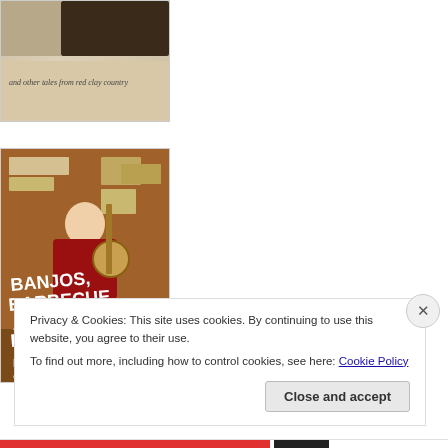[Figure (photo): Top portion of a book cover with text 'and other tales from red clay country' in italic on a warm beige background]
[Figure (photo): Book cover for 'Banjos, Barbecue and Boiled Peanuts' by Kirk H. Neely, author of A Good Mule is Hard to Find. Shows a man in a red shirt playing banjo with a dog, set in a rustic interior.]
Privacy & Cookies: This site uses cookies. By continuing to use this website, you agree to their use.
To find out more, including how to control cookies, see here: Cookie Policy
Close and accept